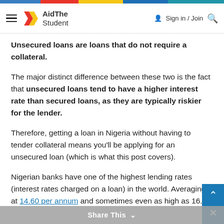AidThe Student — Sign in / Join
Unsecured loans are loans that do not require a collateral.
The major distinct difference between these two is the fact that unsecured loans tend to have a higher interest rate than secured loans, as they are typically riskier for the lender.
Therefore, getting a loan in Nigeria without having to tender collateral means you'll be applying for an unsecured loan (which is what this post covers).
Nigerian banks have one of the highest lending rates (interest rates charged on a loan) in the world. Averaging at 14.60 per annum and sometimes even as high as 16.0...